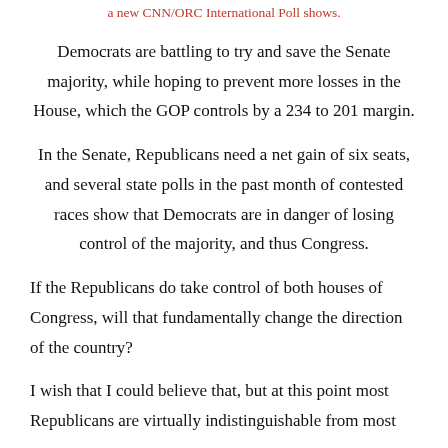a new CNN/ORC International Poll shows.
Democrats are battling to try and save the Senate majority, while hoping to prevent more losses in the House, which the GOP controls by a 234 to 201 margin.
In the Senate, Republicans need a net gain of six seats, and several state polls in the past month of contested races show that Democrats are in danger of losing control of the majority, and thus Congress.
If the Republicans do take control of both houses of Congress, will that fundamentally change the direction of the country?
I wish that I could believe that, but at this point most Republicans are virtually indistinguishable from most